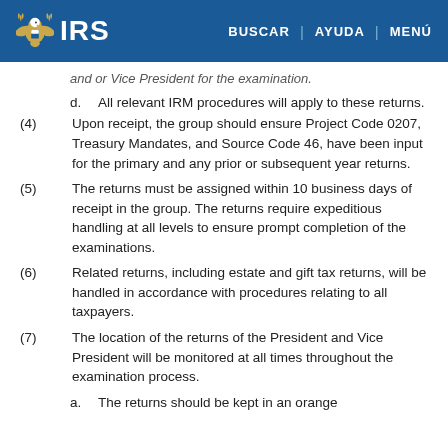IRS | BUSCAR | AYUDA | MENÚ
d. All relevant IRM procedures will apply to these returns.
(4) Upon receipt, the group should ensure Project Code 0207, Treasury Mandates, and Source Code 46, have been input for the primary and any prior or subsequent year returns.
(5) The returns must be assigned within 10 business days of receipt in the group. The returns require expeditious handling at all levels to ensure prompt completion of the examinations.
(6) Related returns, including estate and gift tax returns, will be handled in accordance with procedures relating to all taxpayers.
(7) The location of the returns of the President and Vice President will be monitored at all times throughout the examination process.
a. The returns should be kept in an orange